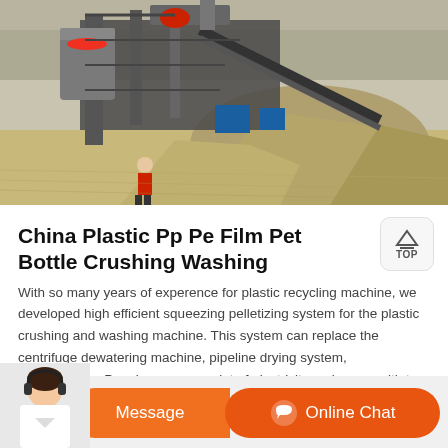[Figure (photo): Outdoor industrial quarry/crushing plant scene with machinery, conveyor belts, large piles of aggregates/gravel, and a person in a red jacket standing nearby. Dusty outdoor environment with bare trees in background.]
China Plastic Pp Pe Film Pet Bottle Crushing Washing
With so many years of experence for plastic recycling machine, we developed high efficient squeezing pelletizing system for the plastic crushing and washing machine. This system can replace the centrifuge dewatering machine, pipeline drying system, agglomerator. People can save a lot of electricity and space with t…